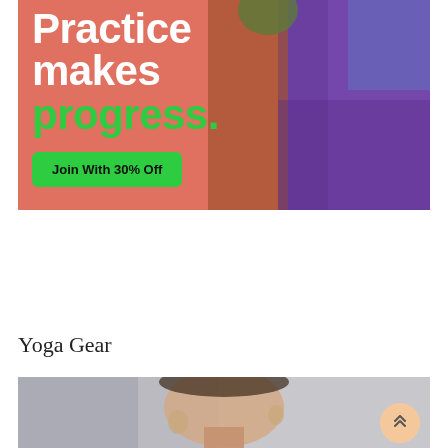[Figure (photo): Advertisement banner with salmon/pink background and photo of people doing yoga/fitness. White bold text reads 'Practice makes' and green bold text reads 'progress.' with a green 'Join With 30% Off' button.]
Yoga Gear
[Figure (photo): Cropped photo of a woman, close-up on face/neck area, light background. A peach/salmon colored circular scroll-to-top button with double chevron up arrows overlays the bottom right.]